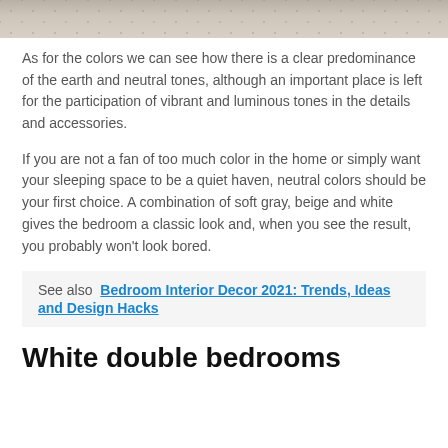[Figure (photo): Top portion of a bedroom photo showing a light-colored floor or ceiling with a dotted/spotted pattern]
As for the colors we can see how there is a clear predominance of the earth and neutral tones, although an important place is left for the participation of vibrant and luminous tones in the details and accessories.
If you are not a fan of too much color in the home or simply want your sleeping space to be a quiet haven, neutral colors should be your first choice. A combination of soft gray, beige and white gives the bedroom a classic look and, when you see the result, you probably won't look bored.
See also  Bedroom Interior Decor 2021: Trends, Ideas and Design Hacks
White double bedrooms